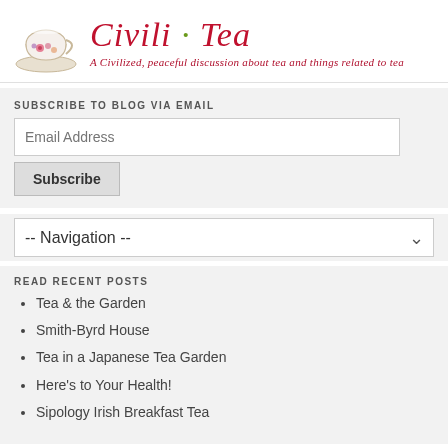[Figure (logo): Civili·Tea blog logo with teacup image on the left and cursive red title text 'Civili·Tea' with italic subtitle 'A Civilized, peaceful discussion about tea and things related to tea']
SUBSCRIBE TO BLOG VIA EMAIL
Email Address
Subscribe
-- Navigation --
READ RECENT POSTS
Tea & the Garden
Smith-Byrd House
Tea in a Japanese Tea Garden
Here's to Your Health!
Sipology Irish Breakfast Tea
No Smoking Please